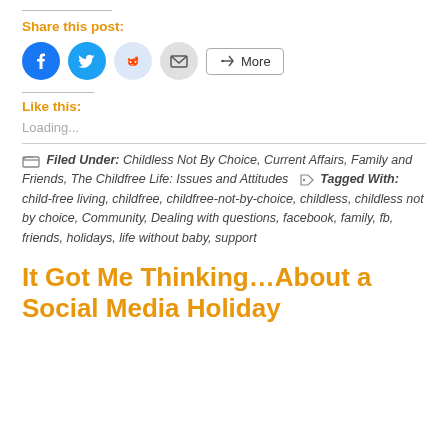Share this post:
[Figure (other): Social sharing buttons: Facebook (blue circle), Twitter (blue circle), Reddit (light blue circle), Email (grey circle), and a More button with share icon]
Like this:
Loading...
Filed Under: Childless Not By Choice, Current Affairs, Family and Friends, The Childfree Life: Issues and Attitudes  Tagged With: child-free living, childfree, childfree-not-by-choice, childless, childless not by choice, Community, Dealing with questions, facebook, family, fb, friends, holidays, life without baby, support
It Got Me Thinking…About a Social Media Holiday